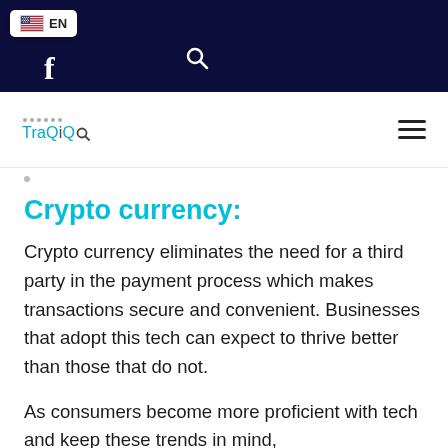[Figure (screenshot): Navigation bar with dark navy background showing US flag EN language selector, search icon, and Facebook icon]
[Figure (logo): TraQiQ logo with dotted pattern above text and hamburger menu icon on right]
Crypto currency:
Crypto currency eliminates the need for a third party in the payment process which makes transactions secure and convenient. Businesses that adopt this tech can expect to thrive better than those that do not.
As consumers become more proficient with tech and keep these trends in mind,